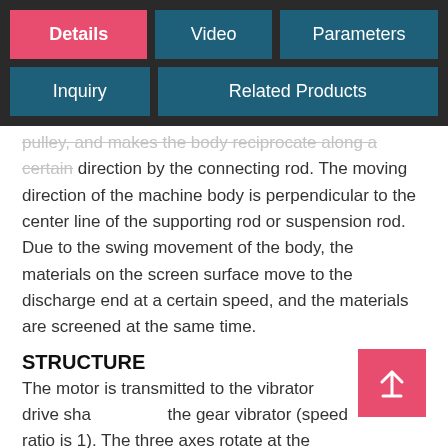Details | Video | Parameters | Inquiry | Related Products
pulley, and makes the body reciprocate along a certain direction by the connecting rod. The moving direction of the machine body is perpendicular to the center line of the supporting rod or suspension rod. Due to the swing movement of the body, the materials on the screen surface move to the discharge end at a certain speed, and the materials are screened at the same time.
STRUCTURE
The motor is transmitted to the vibrator drive sha... the gear vibrator (speed ratio is 1). The three axes rotate at the same speed and produce the vibration force. The vibration exciter is connected with the sieve